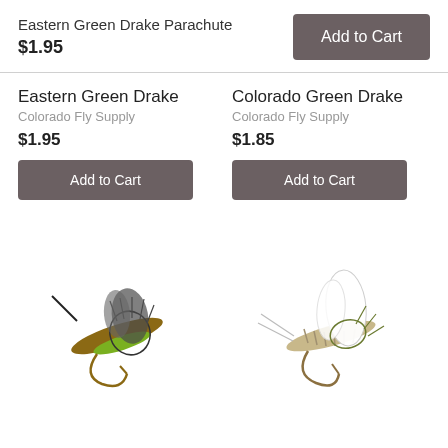Eastern Green Drake Parachute
$1.95
Add to Cart
Eastern Green Drake
Colorado Fly Supply
$1.95
Add to Cart
Colorado Green Drake
Colorado Fly Supply
$1.85
Add to Cart
[Figure (illustration): Fishing fly lure - Eastern Green Drake, with brown body, green legs, and dark hackle feathers]
[Figure (illustration): Fishing fly lure - Colorado Green Drake, with segmented beige body, white wing, and olive hackle feathers]